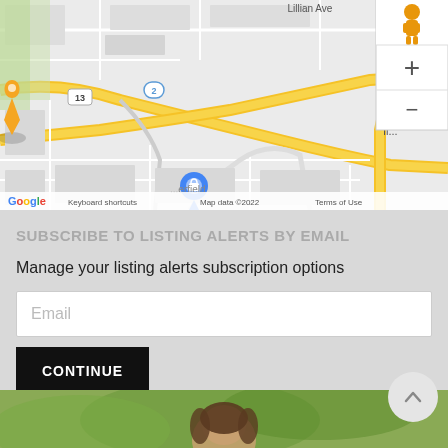[Figure (map): Google Maps screenshot showing a street map with roads, route markers (13, 2), a blue location pin, street labels including Lillian Ave, Lillian..., Queen B..., and 'erfield'. Map controls include a pegman icon, plus (+) and minus (-) zoom buttons. Bottom bar shows Google logo, Keyboard shortcuts, Map data ©2022, Terms of Use.]
SUBSCRIBE TO LISTING ALERTS BY EMAIL
Manage your listing alerts subscription options
Email
CONTINUE